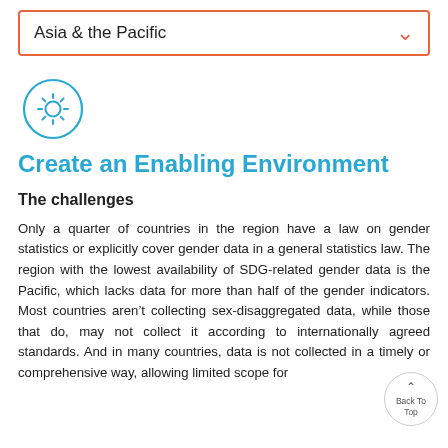Asia & the Pacific
[Figure (illustration): Gear/settings icon inside a circle, drawn in blue outline style]
Create an Enabling Environment
The challenges
Only a quarter of countries in the region have a law on gender statistics or explicitly cover gender data in a general statistics law. The region with the lowest availability of SDG-related gender data is the Pacific, which lacks data for more than half of the gender indicators. Most countries aren't collecting sex-disaggregated data, while those that do, may not collect it according to internationally agreed standards. And in many countries, data is not collected in a timely or comprehensive way, allowing limited scope for